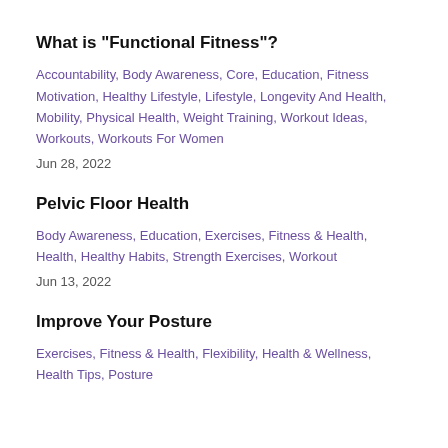What is "Functional Fitness"?
Accountability, Body Awareness, Core, Education, Fitness Motivation, Healthy Lifestyle, Lifestyle, Longevity And Health, Mobility, Physical Health, Weight Training, Workout Ideas, Workouts, Workouts For Women
Jun 28, 2022
Pelvic Floor Health
Body Awareness, Education, Exercises, Fitness & Health, Health, Healthy Habits, Strength Exercises, Workout
Jun 13, 2022
Improve Your Posture
Exercises, Fitness & Health, Flexibility, Health & Wellness, Health Tips, Posture